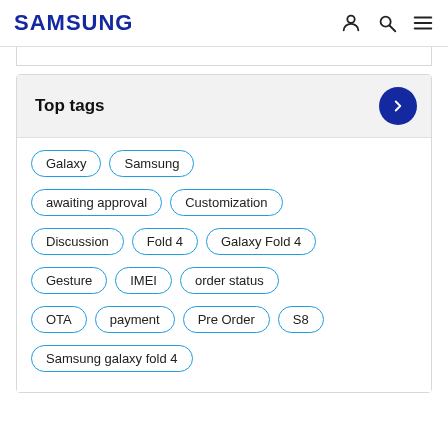SAMSUNG
[Figure (screenshot): Samsung website navigation header with logo, person icon, search icon, and hamburger menu icon]
Top tags
Galaxy
Samsung
awaiting approval
Customization
Discussion
Fold 4
Galaxy Fold 4
Gesture
IMEI
order status
OTA
payment
Pre Order
S8
Samsung galaxy fold 4